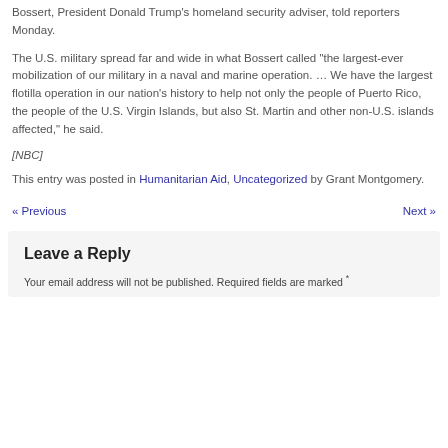Bossert, President Donald Trump's homeland security adviser, told reporters Monday.
The U.S. military spread far and wide in what Bossert called “the largest-ever mobilization of our military in a naval and marine operation. … We have the largest flotilla operation in our nation's history to help not only the people of Puerto Rico, the people of the U.S. Virgin Islands, but also St. Martin and other non-U.S. islands affected,” he said.
[NBC]
This entry was posted in Humanitarian Aid, Uncategorized by Grant Montgomery.
« Previous   Next »
Leave a Reply
Your email address will not be published. Required fields are marked *